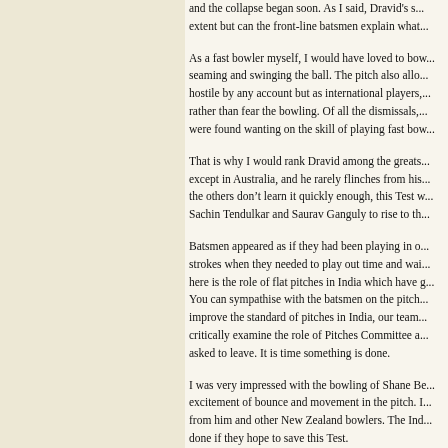and the collapse began soon. As I said, Dravid's s... extent but can the front-line batsmen explain what...
As a fast bowler myself, I would have loved to bow... seaming and swinging the ball. The pitch also allo... hostile by any account but as international players,... rather than fear the bowling. Of all the dismissals,... were found wanting on the skill of playing fast bow...
That is why I would rank Dravid among the greats... except in Australia, and he rarely flinches from his... the others don’t learn it quickly enough, this Test w... Sachin Tendulkar and Saurav Ganguly to rise to th...
Batsmen appeared as if they had been playing in o... strokes when they needed to play out time and wai... here is the role of flat pitches in India which have g... You can sympathise with the batsmen on the pitch... improve the standard of pitches in India, our team... critically examine the role of Pitches Committee a... asked to leave. It is time something is done.
I was very impressed with the bowling of Shane Be... excitement of bounce and movement in the pitch.... from him and other New Zealand bowlers. The Ind... done if they hope to save this Test.